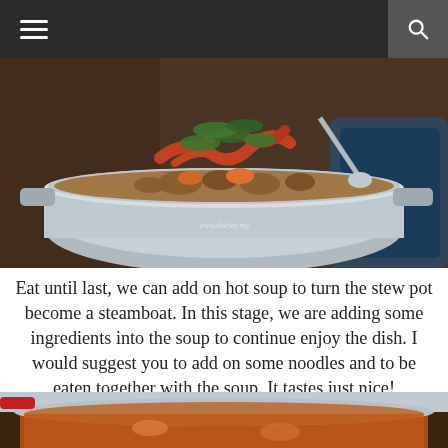Navigation menu and search
[Figure (photo): A stew pot on an induction cooker filled with prawns, vegetables, and broth, garnished with cilantro. Watermark: www.shirley.my]
Eat until last, we can add on hot soup to turn the stew pot become a steamboat. In this stage, we are adding some ingredients into the soup to continue enjoy the dish. I would suggest you to add on some noodles and to be eaten together with the soup. It tastes just nice!
[Figure (photo): A close-up of a pot with broth and seafood ingredients, with another pot visible in the background, on a dark surface.]